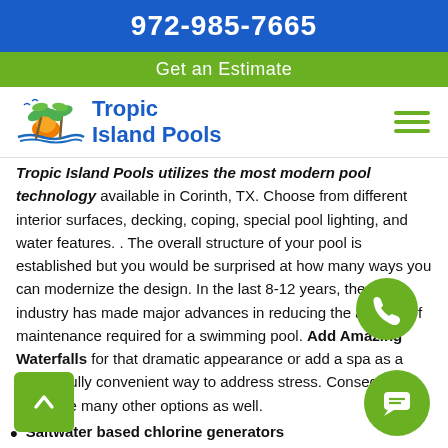972-985-7665
Get an Estimate
[Figure (logo): Tropic Island Pools logo with palm trees and sunset]
Tropic Island Pools utilizes the most modern pool technology available in Corinth, TX. Choose from different interior surfaces, decking, coping, special pool lighting, and water features. . The overall structure of your pool is established but you would be surprised at how many ways you can modernize the design. In the last 8-12 years, the pool industry has made major advances in reducing the amount of maintenance required for a swimming pool. Add Amazing Waterfalls for that dramatic appearance or add a spa as a wonderfully convenient way to address stress. Consequently, you have many other options as well.
Saltwater based chlorine generators